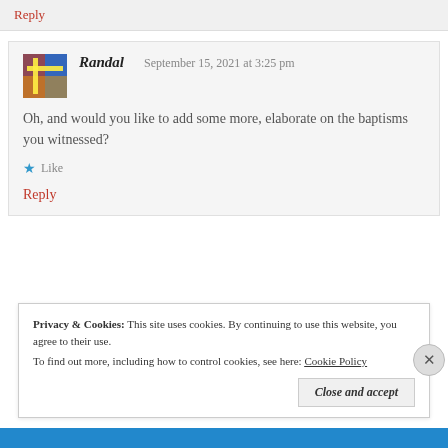Reply
Randal   September 15, 2021 at 3:25 pm
Oh, and would you like to add some more, elaborate on the baptisms you witnessed?
Like
Reply
Privacy & Cookies: This site uses cookies. By continuing to use this website, you agree to their use. To find out more, including how to control cookies, see here: Cookie Policy
Close and accept